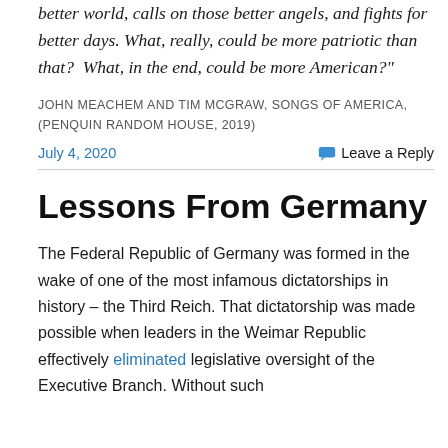better world, calls on those better angels, and fights for better days. What, really, could be more patriotic than that?  What, in the end, could be more American?"
JOHN MEACHEM AND TIM MCGRAW, SONGS OF AMERICA, (PENQUIN RANDOM HOUSE, 2019)
July 4, 2020   Leave a Reply
Lessons From Germany
The Federal Republic of Germany was formed in the wake of one of the most infamous dictatorships in history – the Third Reich. That dictatorship was made possible when leaders in the Weimar Republic effectively eliminated legislative oversight of the Executive Branch. Without such